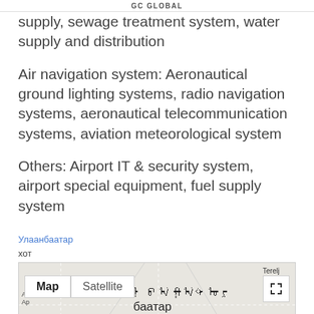GC GLOBAL
supply, sewage treatment system, water supply and distribution
Air navigation system: Aeronautical ground lighting systems, radio navigation systems, aeronautical telecommunication systems, aviation meteorological system
Others: Airport IT & security system, airport special equipment, fuel supply system
Улаанбаатар
хот
[Figure (map): Google Maps embed showing Ulaanbaatar area with Map/Satellite toggle buttons and expand icon. Shows Terelj/Тэрэлж area to northeast and Nalaikh to southeast.]